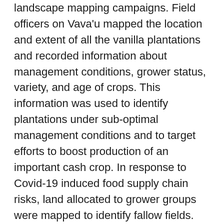landscape mapping campaigns. Field officers on Vava'u mapped the location and extent of all the vanilla plantations and recorded information about management conditions, grower status, variety, and age of crops. This information was used to identify plantations under sub-optimal management conditions and to target efforts to boost production of an important cash crop. In response to Covid-19 induced food supply chain risks, land allocated to grower groups were mapped to identify fallow fields. Capturing this spatial information informed strategies to ensure agricultural land was well-utilised and to allocate fuel and cash resources to farmers to increase cultivation. Maps and visualisations generated from this data were also used in discussions with local Town Officers to pinpoint challenges to bringing more land under cultivation. At present, this workflow is being used to generate island-wide baseline data of intra-farm cropping practices and farm management.